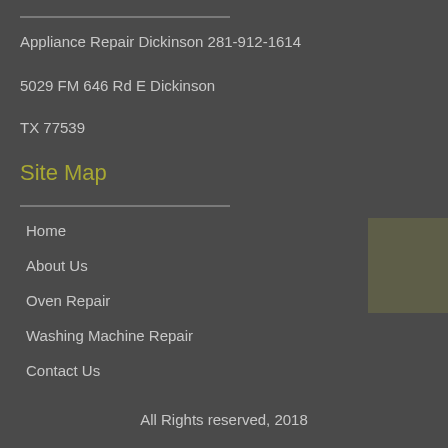Appliance Repair Dickinson 281-912-1614
5029 FM 646 Rd E Dickinson
TX 77539
Site Map
Home
About Us
Oven Repair
Washing Machine Repair
Contact Us
All Rights reserved, 2018